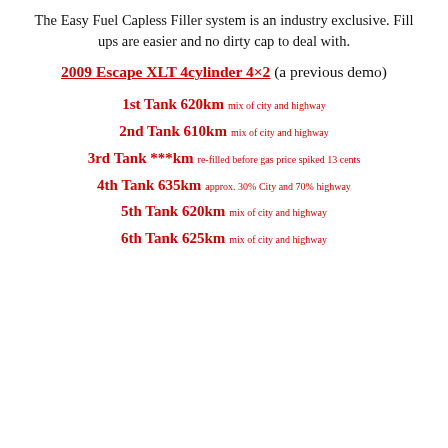The Easy Fuel Capless Filler system is an industry exclusive. Fill ups are easier and no dirty cap to deal with.
2009 Escape XLT 4cylinder 4×2 (a previous demo)
1st Tank 620km mix of city and highway
2nd Tank 610km mix of city and highway
3rd Tank ***km re-filled before gas price spiked 13 cents
4th Tank 635km approx. 30% City and 70% highway
5th Tank 620km mix of city and highway
6th Tank 625km mix of city and highway